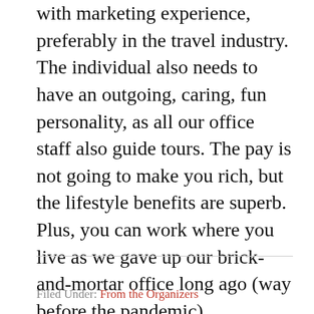with marketing experience, preferably in the travel industry. The individual also needs to have an outgoing, caring, fun personality, as all our office staff also guide tours. The pay is not going to make you rich, but the lifestyle benefits are superb. Plus, you can work where you live as we gave up our brick-and-mortar office long ago (way before the pandemic).
Do you know someone who might be interested? Please refer them to the job description and application form. Application deadline is August 10.
Filed Under: From the Organizers